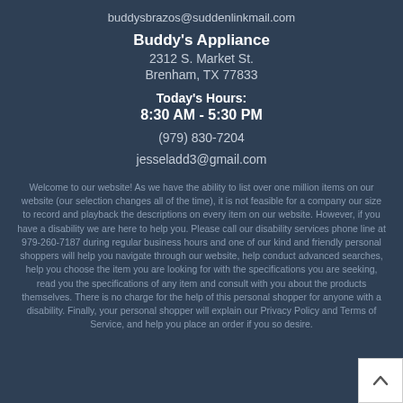buddysbrazos@suddenlinkmail.com
Buddy's Appliance
2312 S. Market St.
Brenham, TX 77833
Today's Hours:
8:30 AM - 5:30 PM
(979) 830-7204
jesseladd3@gmail.com
Welcome to our website! As we have the ability to list over one million items on our website (our selection changes all of the time), it is not feasible for a company our size to record and playback the descriptions on every item on our website. However, if you have a disability we are here to help you. Please call our disability services phone line at 979-260-7187 during regular business hours and one of our kind and friendly personal shoppers will help you navigate through our website, help conduct advanced searches, help you choose the item you are looking for with the specifications you are seeking, read you the specifications of any item and consult with you about the products themselves. There is no charge for the help of this personal shopper for anyone with a disability. Finally, your personal shopper will explain our Privacy Policy and Terms of Service, and help you place an order if you so desire.